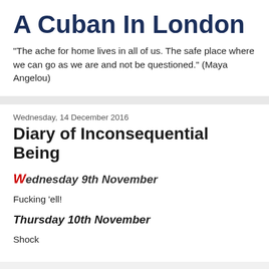A Cuban In London
"The ache for home lives in all of us. The safe place where we can go as we are and not be questioned." (Maya Angelou)
Wednesday, 14 December 2016
Diary of Inconsequential Being
Wednesday 9th November
Fucking 'ell!
Thursday 10th November
Shock